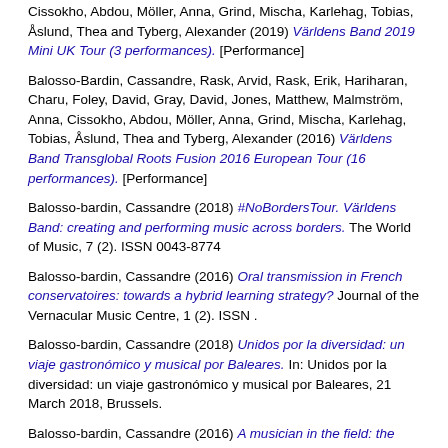Cissokho, Abdou, Möller, Anna, Grind, Mischa, Karlehag, Tobias, Åslund, Thea and Tyberg, Alexander (2019) Världens Band 2019 Mini UK Tour (3 performances). [Performance]
Balosso-Bardin, Cassandre, Rask, Arvid, Rask, Erik, Hariharan, Charu, Foley, David, Gray, David, Jones, Matthew, Malmström, Anna, Cissokho, Abdou, Möller, Anna, Grind, Mischa, Karlehag, Tobias, Åslund, Thea and Tyberg, Alexander (2016) Världens Band Transglobal Roots Fusion 2016 European Tour (16 performances). [Performance]
Balosso-bardin, Cassandre (2018) #NoBordersTour. Världens Band: creating and performing music across borders. The World of Music, 7 (2). ISSN 0043-8774
Balosso-bardin, Cassandre (2016) Oral transmission in French conservatoires: towards a hybrid learning strategy? Journal of the Vernacular Music Centre, 1 (2). ISSN .
Balosso-bardin, Cassandre (2018) Unidos por la diversidad: un viaje gastronómico y musical por Baleares. In: Unidos por la diversidad: un viaje gastronómico y musical por Baleares, 21 March 2018, Brussels.
Balosso-bardin, Cassandre (2016) A musician in the field: the productivity of performance as an intercultural research tool. In: The Routledge international handbook for international arts research. Routledge International Handbooks of Education. Routledge. ISBN